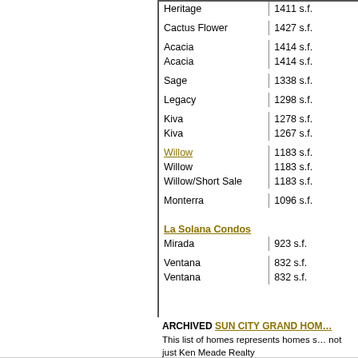| Plan Name | Size |
| --- | --- |
| Heritage | 1411 s.f. |
| Cactus Flower | 1427 s.f. |
| Acacia | 1414 s.f. |
| Acacia | 1414 s.f. |
| Sage | 1338 s.f. |
| Legacy | 1298 s.f. |
| Kiva | 1278 s.f. |
| Kiva | 1267 s.f. |
| Willow | 1183 s.f. |
| Willow | 1183 s.f. |
| Willow/Short Sale | 1183 s.f. |
| Monterra | 1096 s.f. |
| La Solana Condos |  |
| Mirada | 923 s.f. |
| Ventana | 832 s.f. |
| Ventana | 832 s.f. |
ARCHIVED SUN CITY GRAND HOMES
This list of homes represents homes sold by all agents, not just Ken Meade Realty
Information on this site is deemed relia...